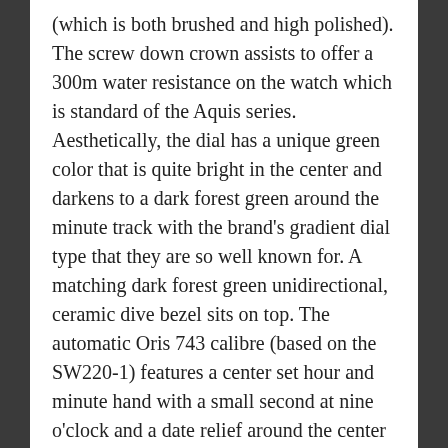(which is both brushed and high polished). The screw down crown assists to offer a 300m water resistance on the watch which is standard of the Aquis series. Aesthetically, the dial has a unique green color that is quite bright in the center and darkens to a dark forest green around the minute track with the brand's gradient dial type that they are so well known for. A matching dark forest green unidirectional, ceramic dive bezel sits on top. The automatic Oris 743 calibre (based on the SW220-1) features a center set hour and minute hand with a small second at nine o'clock and a date relief around the center of the dial as well. Topped off with a highly scratch resistant sapphire crystal and specialty engraved caseback, the 2,000 piece limited edition watch retails at $2,600